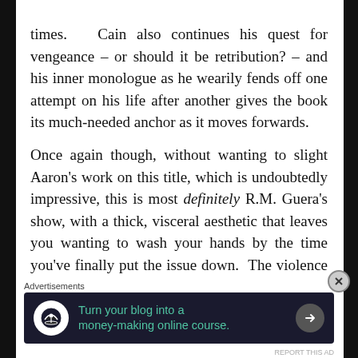times. Cain also continues his quest for vengeance – or should it be retribution? – and his inner monologue as he wearily fends off one attempt on his life after another gives the book its much-needed anchor as it moves forwards.

Once again though, without wanting to slight Aaron's work on this title, which is undoubtedly impressive, this is most definitely R.M. Guera's show, with a thick, visceral aesthetic that leaves you wanting to wash your hands by the time you've finally put the issue down. The violence is almost shockingly brutal at times,
Advertisements
[Figure (infographic): Advertisement banner: dark background with Teachable logo (person under tree icon), green text 'Turn your blog into a money-making online course.' with arrow button]